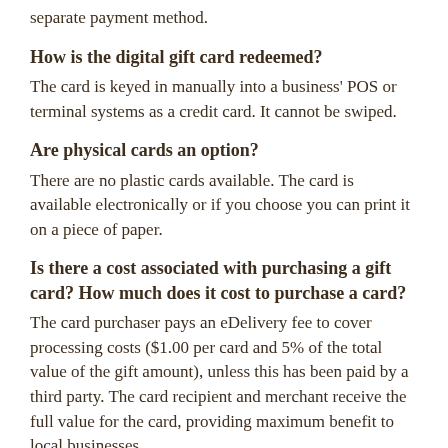separate payment method.
How is the digital gift card redeemed?
The card is keyed in manually into a business' POS or terminal systems as a credit card. It cannot be swiped.
Are physical cards an option?
There are no plastic cards available. The card is available electronically or if you choose you can print it on a piece of paper.
Is there a cost associated with purchasing a gift card? How much does it cost to purchase a card?
The card purchaser pays an eDelivery fee to cover processing costs ($1.00 per card and 5% of the total value of the gift amount), unless this has been paid by a third party. The card recipient and merchant receive the full value for the card, providing maximum benefit to local businesses.
What happens if...